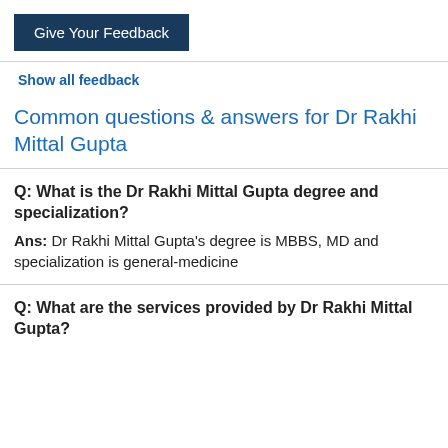Give Your Feedback
Show all feedback
Common questions & answers for Dr Rakhi Mittal Gupta
Q: What is the Dr Rakhi Mittal Gupta degree and specialization?
Ans: Dr Rakhi Mittal Gupta's degree is MBBS, MD and specialization is general-medicine
Q: What are the services provided by Dr Rakhi Mittal Gupta?